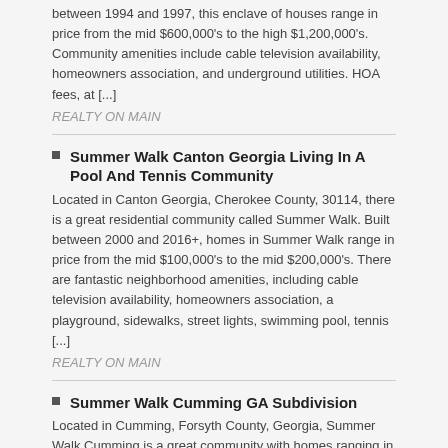between 1994 and 1997, this enclave of houses range in price from the mid $600,000's to the high $1,200,000's. Community amenities include cable television availability, homeowners association, and underground utilities. HOA fees, at [...]
REALTY ON MAIN
Summer Walk Canton Georgia Living In A Pool And Tennis Community
Located in Canton Georgia, Cherokee County, 30114, there is a great residential community called Summer Walk. Built between 2000 and 2016+, homes in Summer Walk range in price from the mid $100,000's to the mid $200,000's. There are fantastic neighborhood amenities, including cable television availability, homeowners association, a playground, sidewalks, street lights, swimming pool, tennis [...]
REALTY ON MAIN
Summer Walk Cumming GA Subdivision
Located in Cumming, Forsyth County, Georgia, Summer Walk Cumming is a great community with homes ranging in price from the mid $100,000's to the mid $200,000's. Homes were built between 1995 and 1997. Neighborhood amenities include Homeowners Association, sidewalks, street lights, underground utilities, and cable television availability. HOA fees are $225.00 per year, at time of [...]
REALTY ON MAIN
Hamilton Mill
Hamilton Mill is a large residential community located in Dacula, Gwinnett County, Georgia, with homes ranging from the mid $200,000's to the high $700,000's. Homes were built between 1995 and 2007, and they have a